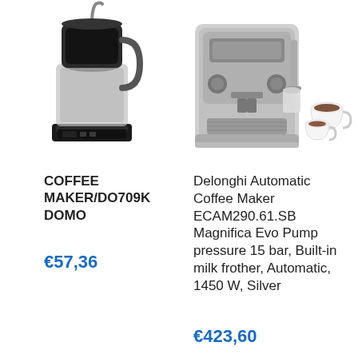[Figure (photo): Coffee maker product image, black and silver drip coffee maker with thermal carafe, partially cropped at top]
COFFEE MAKER/DO709K DOMO
€57,36
[Figure (photo): Delonghi automatic espresso machine, silver and black, with two espresso cups beside it, partially cropped at top]
Delonghi Automatic Coffee Maker ECAM290.61.SB Magnifica Evo Pump pressure 15 bar, Built-in milk frother, Automatic, 1450 W, Silver
€423,60